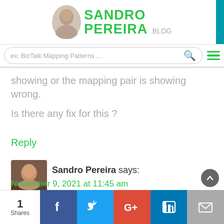[Figure (logo): Sandro Pereira Blog logo with photo and green text]
ex: BizTalk Mapping Patterns ...
showing or the mapping pair is showing wrong.
Is there any fix for this ?
Reply
[Figure (photo): Avatar photo of Sandro Pereira]
Sandro Pereira says:
November 9, 2021 at 11:45 am
[Figure (infographic): Social share bar: 1 Share, Facebook, Twitter, Google+, LinkedIn, Email buttons]